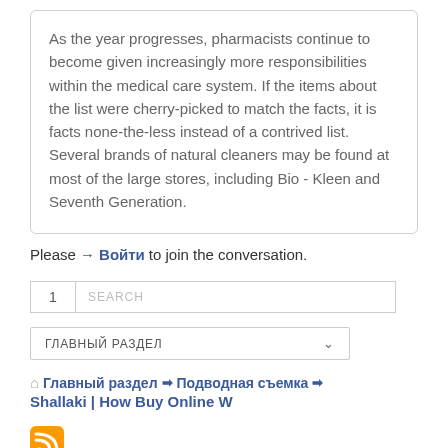As the year progresses, pharmacists continue to become given increasingly more responsibilities within the medical care system. If the items about the list were cherry-picked to match the facts, it is facts none-the-less instead of a contrived list. Several brands of natural cleaners may be found at most of the large stores, including Bio - Kleen and Seventh Generation.
Please → Войти to join the conversation.
1 | SEARCH
ГЛАВНЫЙ РАЗДЕЛ
🏠 Главный раздел > Подводная съемка > Shallaki | How Buy Online W
[Figure (logo): RSS feed orange icon]
Time to create page: 0.133 seconds